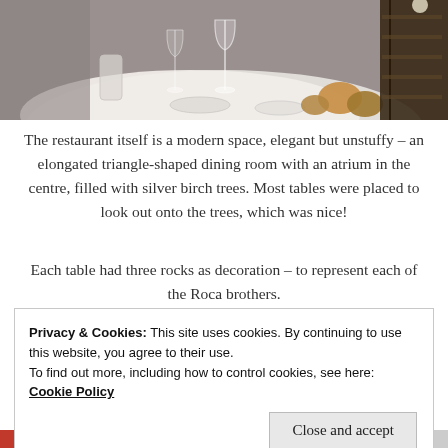[Figure (photo): Restaurant dining table with wine glasses, plates, and rocks as decoration on a white tablecloth, with dark background featuring shelving]
The restaurant itself is a modern space, elegant but unstuffy – an elongated triangle-shaped dining room with an atrium in the centre, filled with silver birch trees. Most tables were placed to look out onto the trees, which was nice!
Each table had three rocks as decoration – to represent each of the Roca brothers.
Privacy & Cookies: This site uses cookies. By continuing to use this website, you agree to their use.
To find out more, including how to control cookies, see here: Cookie Policy